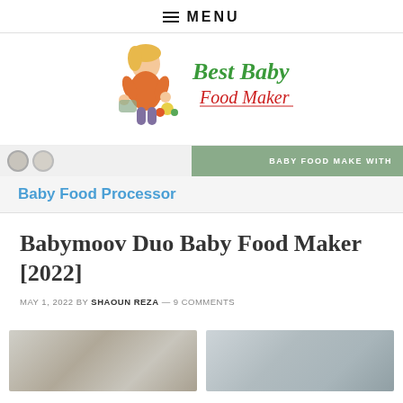≡ MENU
[Figure (logo): Best Baby Food Maker logo with illustrated woman and food items]
[Figure (illustration): Banner strip with baby food maker product images on left and green background with text BABY FOOD MAKE WITH on right]
Baby Food Processor
Babymoov Duo Baby Food Maker [2022]
MAY 1, 2022 BY SHAOUN REZA — 9 COMMENTS
[Figure (photo): Two product photos of Babymoov Duo Baby Food Maker side by side, partially cropped at bottom of page]